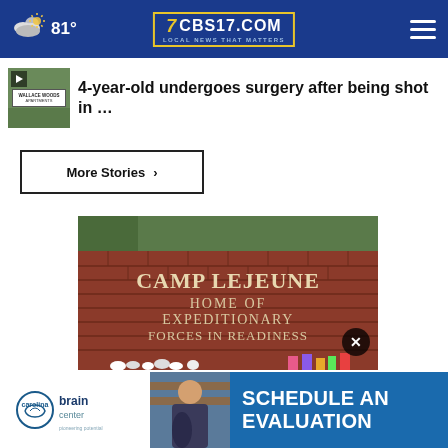81° CBS17.COM LOCAL NEWS THAT MATTERS
4-year-old undergoes surgery after being shot in …
More Stories ›
[Figure (photo): Camp Lejeune entrance sign reading 'CAMP LEJEUNE HOME OF EXPEDITIONARY FORCES IN READINESS' on a brick wall with flowers/toys placed at the base]
[Figure (photo): Advertisement for Carolina Brain Center showing 'SCHEDULE AN EVALUATION' text with a person in background]